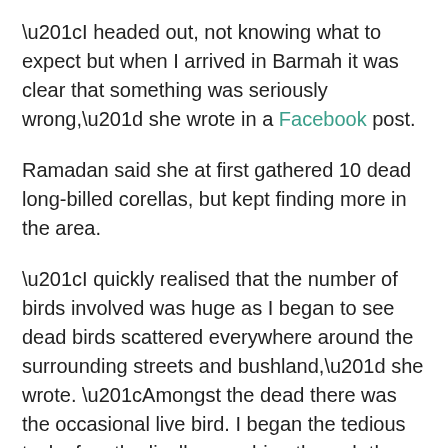“I headed out, not knowing what to expect but when I arrived in Barmah it was clear that something was seriously wrong,” she wrote in a Facebook post.
Ramadan said she at first gathered 10 dead long-billed corellas, but kept finding more in the area.
“I quickly realised that the number of birds involved was huge as I began to see dead birds scattered everywhere around the surrounding streets and bushland,” she wrote. “Amongst the dead there was the occasional live bird. I began the tedious task of methodically searching through the streets of Barmah and in surrounding bushland.”
In the end, she photographed a total of 105